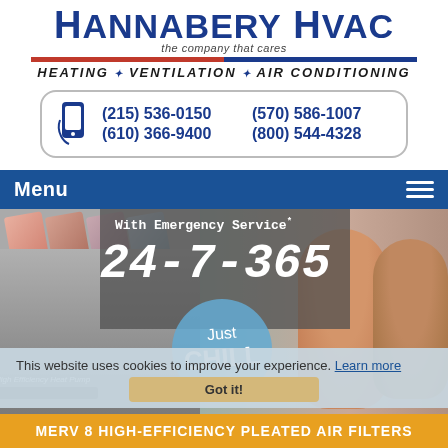HANNABERY HVAC
the company that cares
HEATING · VENTILATION · AIR CONDITIONING
(215) 536-0150  (570) 586-1007  (610) 366-9400  (800) 544-4328
Menu
[Figure (photo): Hero banner showing a high efficiency heat pump on the left, emergency service 24-7-365 text overlay in center, and smiling couple on the right. A Just Chill circular badge overlays the center.]
This website uses cookies to improve your experience. Learn more
Got it!
MERV 8 HIGH-EFFICIENCY PLEATED AIR FILTERS